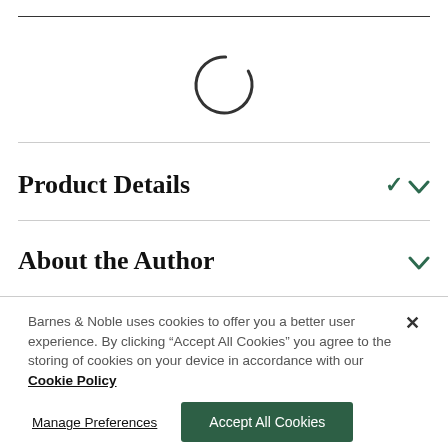[Figure (other): Loading spinner: a thin dark circle with a gap, indicating content is loading]
Product Details
About the Author
Barnes & Noble uses cookies to offer you a better user experience. By clicking "Accept All Cookies" you agree to the storing of cookies on your device in accordance with our Cookie Policy
Manage Preferences
Accept All Cookies